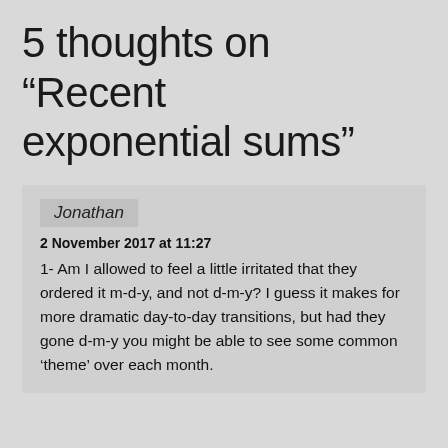5 thoughts on “Recent exponential sums”
Jonathan
2 November 2017 at 11:27
1- Am I allowed to feel a little irritated that they ordered it m-d-y, and not d-m-y? I guess it makes for more dramatic day-to-day transitions, but had they gone d-m-y you might be able to see some common ‘theme’ over each month.